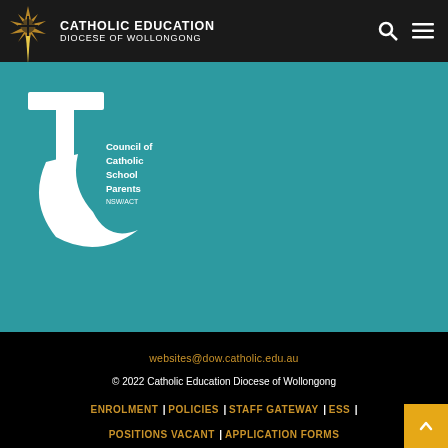CATHOLIC EDUCATION DIOCESE OF WOLLONGONG
[Figure (logo): Council of Catholic School Parents NSW/ACT logo - white crescent/cross symbol on teal background with text]
websites@dow.catholic.edu.au
© 2022 Catholic Education Diocese of Wollongong
ENROLMENT | POLICIES | STAFF GATEWAY | ESS | POSITIONS VACANT | APPLICATION FORMS
Website by Greenhouse Creative